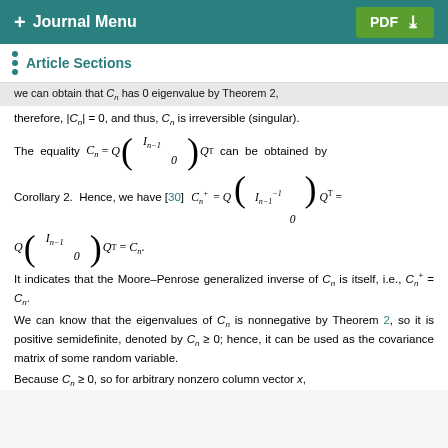+ Journal Menu | PDF ↓
Article Sections
We can obtain that C_n has 0 eigenvalue by Theorem 2, therefore, |C_n| = 0, and thus, C_n is irreversible (singular).
can be obtained by Corollary 2. Hence, we have [30] C_n^+ = Q\begin{pmatrix} I_{n-1}^{-1} & \\ & 0 \end{pmatrix}Q^T = Q\begin{pmatrix} I_{n-1} & \\ & 0 \end{pmatrix}Q^T = C_n.
It indicates that the Moore–Penrose generalized inverse of C_n is itself, i.e., C_n^+ = C_n.
We can know that the eigenvalues of C_n is nonnegative by Theorem 2, so it is positive semidefinite, denoted by C_n ≥ 0; hence, it can be used as the covariance matrix of some random variable.
Because C_n ≥ 0, so for arbitrary nonzero column vector x,